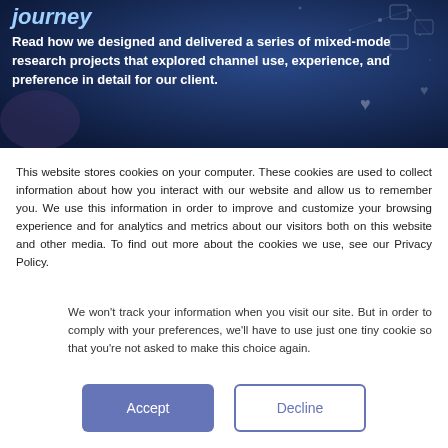[Figure (photo): Dark blue technology background with digital network icons and connection nodes, partially visible hero banner image]
journey
Read how we designed and delivered a series of mixed-mode research projects that explored channel use, experience, and preference in detail for our client.
This website stores cookies on your computer. These cookies are used to collect information about how you interact with our website and allow us to remember you. We use this information in order to improve and customize your browsing experience and for analytics and metrics about our visitors both on this website and other media. To find out more about the cookies we use, see our Privacy Policy.
We won't track your information when you visit our site. But in order to comply with your preferences, we'll have to use just one tiny cookie so that you're not asked to make this choice again.
Accept
Decline